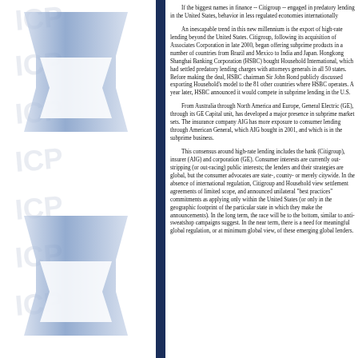[Figure (logo): ICP logo watermark repeated vertically on left panel with blue chevron/arrow graphic]
If the biggest names in finance -- Citigroup -- engaged in predatory lending in the United States, behavior in less regulated economies internationally should come as no surprise.

An inescapable trend in this new millennium is the export of high-rate lending beyond the United States. Citigroup, following its acquisition of Associates Corporation in late 2000, began offering subprime products in a number of countries from Brazil and Mexico to India and Japan. Hongkong Shanghai Banking Corporation (HSBC) bought Household International, which had settled predatory lending charges with attorneys general in all 50 states. Before making the deal, HSBC chairman Sir John Bond publicly discussed his plans for exporting Household's model to the 81 other countries where HSBC operates. A year later, HSBC announced it would compete in subprime lending in the U.S.

From Australia through North America and Europe, General Electric (GE), through its GE Capital unit, has developed a major presence in subprime markets sets. The insurance company AIG has more exposure to consumer lending through American General, which AIG bought in 2001, and which is in the subprime business.

This consensus around high-rate lending includes the bank (Citigroup), insurer (AIG) and corporation (GE). Consumer interests are currently out-stripping (or out-racing) public interests; the lenders and their strategies are global, but the consumer advocates are state-, county- or merely citywide. In the absence of international regulation, Citigroup and Household view settlement agreements of limited scope, and announced unilateral "best practices" commitments as applying only within the United States (or only in the geographic footprint of the particular state in which they make the announcements). In the long term, the race will be to the bottom, similar to anti-sweatshop campaigns suggest. In the near term, there is a need for meaningful global regulation, or at minimum global view, of these emerging global lenders.